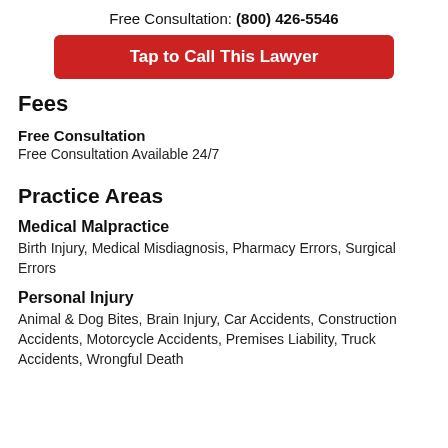Free Consultation: (800) 426-5546
[Figure (other): Red call-to-action button reading 'Tap to Call This Lawyer']
Fees
Free Consultation
Free Consultation Available 24/7
Practice Areas
Medical Malpractice
Birth Injury, Medical Misdiagnosis, Pharmacy Errors, Surgical Errors
Personal Injury
Animal & Dog Bites, Brain Injury, Car Accidents, Construction Accidents, Motorcycle Accidents, Premises Liability, Truck Accidents, Wrongful Death